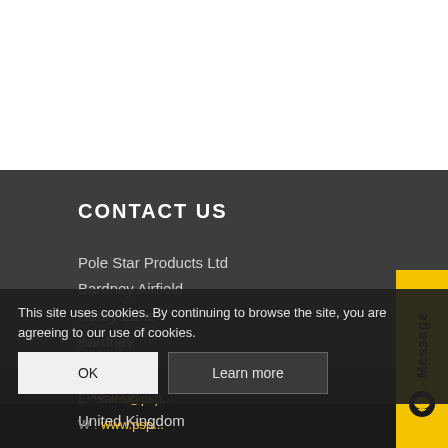CONTACT US
Pole Star Products Ltd
Bardney Airfield
Henry Lane
Bardney
Lincolnshire
LN3 5TJ
United Kingdom
E : sales@psp...
W : www.psp...
[Figure (other): Yellow vertical message tab with speech bubble icon on the right side]
This site uses cookies. By continuing to browse the site, you are agreeing to our use of cookies.
OK    Learn more